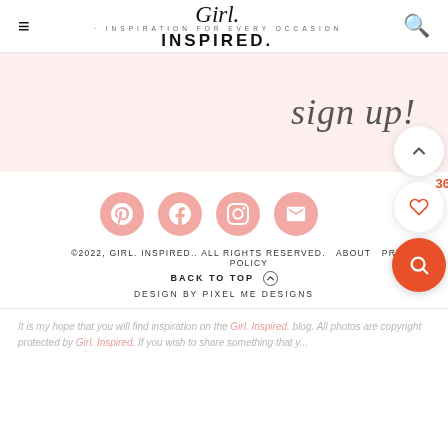Girl. INSPIRED. · INSPIRATION FOR EVERY OCCASION
[Figure (illustration): Sign up banner with cursive 'sign up!' text on a light pink background]
[Figure (infographic): Row of four social media icon buttons (Pinterest, Facebook, Instagram, Email) in pink circles, plus floating nav buttons (up arrow, heart with count 36, orange search)]
©2022, GIRL. INSPIRED.. ALL RIGHTS RESERVED.   ABOUT   PRIVACY POLICY
BACK TO TOP ^
DESIGN BY PIXEL ME DESIGNS
It is my hope that you will find inspiration on the Girl. Inspired. blog. All photos are copyright protected by Girl. Inspired. If you wish to share something that y...